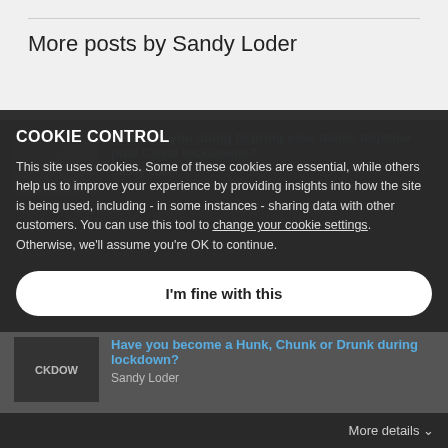More posts by Sandy Loder
[Figure (screenshot): Post thumbnail with image of person, partially visible behind overlay]
What are you doing to bring your teams together post Covid lockdowns?
Sandy Loder
COOKIE CONTROL
This site uses cookies. Some of these cookies are essential, while others help us to improve your experience by providing insights into how the site is being used, including - in some instances - sharing data with other customers. You can use this tool to change your cookie settings. Otherwise, we'll assume you're OK to continue.
I'm fine with this
Have you become a Hunk, Chunk or Drunk during lockdown?
Sandy Loder
More details ⌄